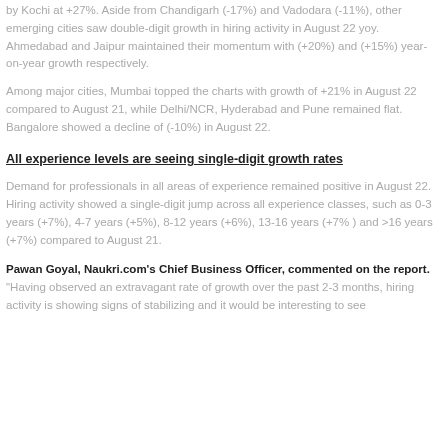by Kochi at +27%. Aside from Chandigarh (-17%) and Vadodara (-11%), other emerging cities saw double-digit growth in hiring activity in August 22 yoy. Ahmedabad and Jaipur maintained their momentum with (+20%) and (+15%) year-on-year growth respectively.
Among major cities, Mumbai topped the charts with growth of +21% in August 22 compared to August 21, while Delhi/NCR, Hyderabad and Pune remained flat. Bangalore showed a decline of (-10%) in August 22.
All experience levels are seeing single-digit growth rates
Demand for professionals in all areas of experience remained positive in August 22. Hiring activity showed a single-digit jump across all experience classes, such as 0-3 years (+7%), 4-7 years (+5%), 8-12 years (+6%), 13-16 years (+7% ) and >16 years (+7%) compared to August 21.
Pawan Goyal, Naukri.com's Chief Business Officer, commented on the report. "Having observed an extravagant rate of growth over the past 2-3 months, hiring activity is showing signs of stabilizing and it would be interesting to see